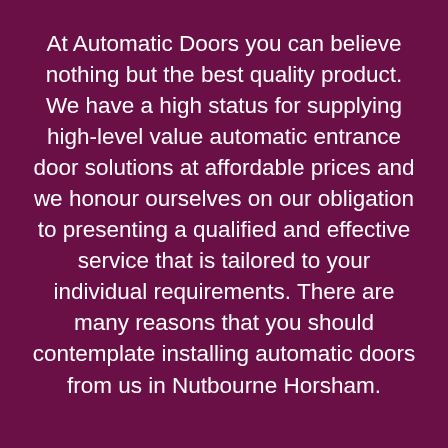At Automatic Doors you can believe nothing but the best quality product. We have a high status for supplying high-level value automatic entrance door solutions at affordable prices and we honour ourselves on our obligation to presenting a qualified and effective service that is tailored to your individual requirements. There are many reasons that you should contemplate installing automatic doors from us in Nutbourne Horsham.